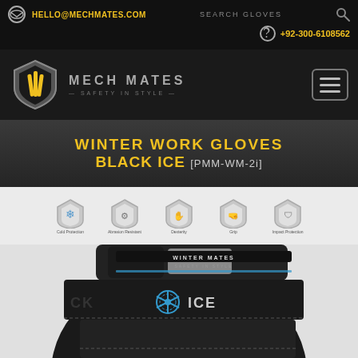HELLO@MECHMATES.COM | SEARCH GLOVES | +92-300-6108562
[Figure (logo): Mech Mates shield logo with yellow and black stripes]
WINTER WORK GLOVES BLACK ICE [PMM-WM-2i]
[Figure (infographic): Five shield icons representing: Cold Protection, Abrasion Resistant, Dexterity, Grip, Impact Protection]
[Figure (photo): Black Ice winter work glove close-up showing the cuff area with WINTER MATES SAFETY IN STYLE branding and snowflake gear ICE logo in blue]